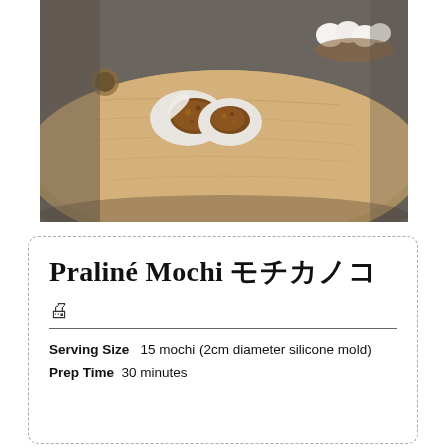[Figure (photo): Two praline mochi pieces on a wooden bamboo cutting board, one split open showing the praline filling inside, with more white mochi balls in the background]
Praliné Mochi 餅餅餅餅餅
🖨
Serving Size  15 mochi (2cm diameter silicone mold)
Prep Time  30 minutes